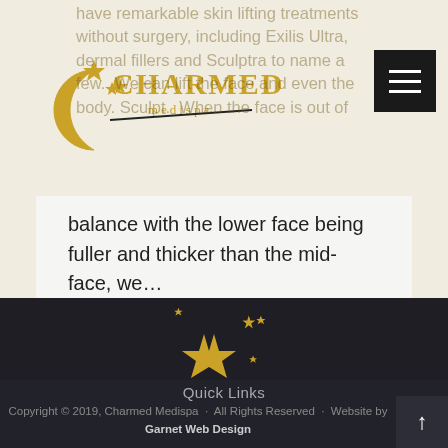[Figure (logo): Charmed Medispa logo with crescent moon, star wand, and gold text]
have remarkable skin lifting treatments without surgery, including Exilis Ultra, dermal fillers and Sculptra to name a few. We can lift the face and even the body. Sculpt. When the face is out of balance with the lower face being fuller and thicker than the mid-face, we…
1  2  3  4  →
[Figure (logo): Charmed Medispa stars logo (gold stars cluster) in footer]
Quick Links
Copyright © 2019, Charmed Medispa · All Rights Reserved · Website by Garnet Web Design